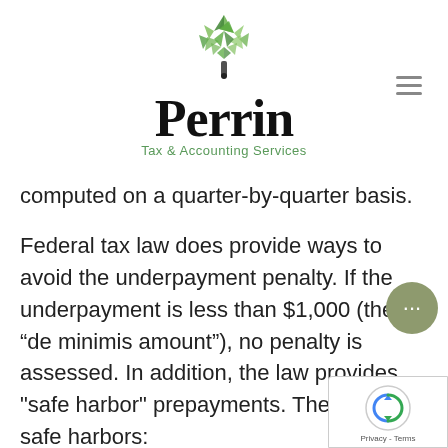[Figure (logo): Perrin Tax & Accounting Services logo — geometric green leaf/tree above the word 'Perrin' in bold serif, with 'Tax & Accounting Services' in green below]
computed on a quarter-by-quarter basis.
Federal tax law does provide ways to avoid the underpayment penalty. If the underpayment is less than $1,000 (the “de minimis amount”), no penalty is assessed. In addition, the law provides "safe harbor" prepayments. There are two safe harbors: